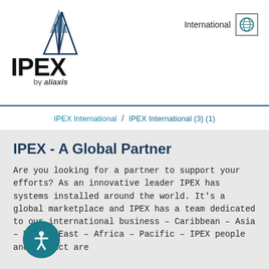[Figure (logo): IPEX by aliaxis logo — architectural/building icon above bold IPEX text with 'by aliaxis' in smaller text below]
International
IPEX International / IPEX International (3) (1)
IPEX - A Global Partner
Are you looking for a partner to support your efforts? As an innovative leader IPEX has systems installed around the world. It's a global marketplace and IPEX has a team dedicated to our international business – Caribbean – Asia – Middle East – Africa – Pacific – IPEX people and product are…